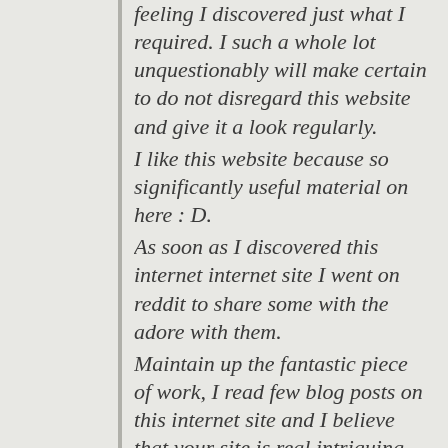feeling I discovered just what I required. I such a whole lot unquestionably will make certain to do not disregard this website and give it a look regularly.
I like this website because so significantly useful material on here : D.
As soon as I discovered this internet internet site I went on reddit to share some with the adore with them.
Maintain up the fantastic piece of work, I read few blog posts on this internet site and I believe that your site is real intriguing and has lots of wonderful info.
Very interesting topic , regards for putting up.
Some actually quality weblog posts on this site, saved to fav.
I conceive you've noted some really intriguing